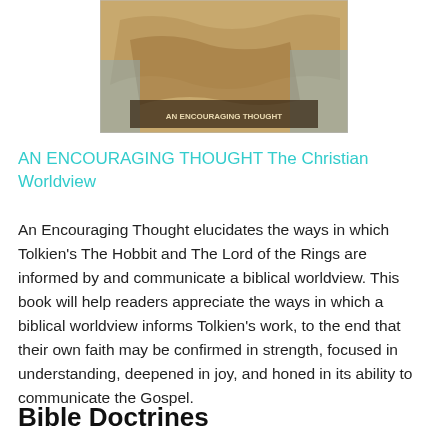[Figure (photo): Book cover image showing a map, likely for 'An Encouraging Thought The Christian Worldview']
AN ENCOURAGING THOUGHT The Christian Worldview
An Encouraging Thought elucidates the ways in which Tolkien's The Hobbit and The Lord of the Rings are informed by and communicate a biblical worldview. This book will help readers appreciate the ways in which a biblical worldview informs Tolkien's work, to the end that their own faith may be confirmed in strength, focused in understanding, deepened in joy, and honed in its ability to communicate the Gospel.
Bible Doctrines